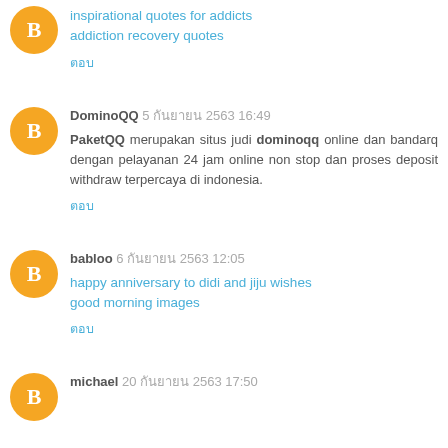inspirational quotes for addicts
addiction recovery quotes
ตอบ
DominoQQ 5 กันยายน 2563 16:49
PaketQQ merupakan situs judi dominoqq online dan bandarq dengan pelayanan 24 jam online non stop dan proses deposit withdraw terpercaya di indonesia.
ตอบ
babloo 6 กันยายน 2563 12:05
happy anniversary to didi and jiju wishes
good morning images
ตอบ
michael 20 กันยายน 2563 17:50